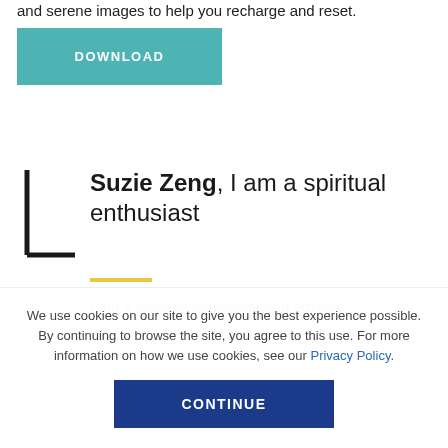and serene images to help you recharge and reset.
DOWNLOAD
Suzie Zeng, I am a spiritual enthusiast
I am a spiritual enthusiast and adviser
We use cookies on our site to give you the best experience possible. By continuing to browse the site, you agree to this use. For more information on how we use cookies, see our Privacy Policy.
CONTINUE